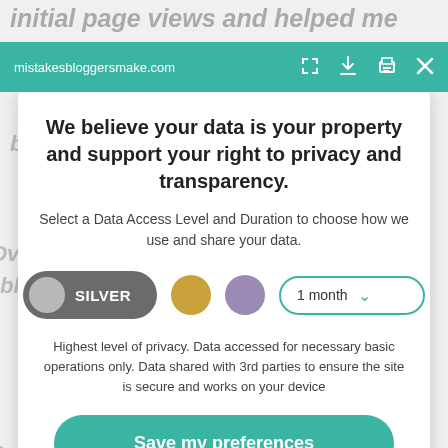[Figure (screenshot): Background blog page text partially visible behind privacy consent modal]
mistakesbloggersmake.com
We believe your data is your property and support your right to privacy and transparency.
Select a Data Access Level and Duration to choose how we use and share your data.
[Figure (infographic): Data access level selector showing Silver (active), Gold, Purple circle options and a 1 month duration dropdown]
Highest level of privacy. Data accessed for necessary basic operations only. Data shared with 3rd parties to ensure the site is secure and works on your device
Save my preferences
Customize